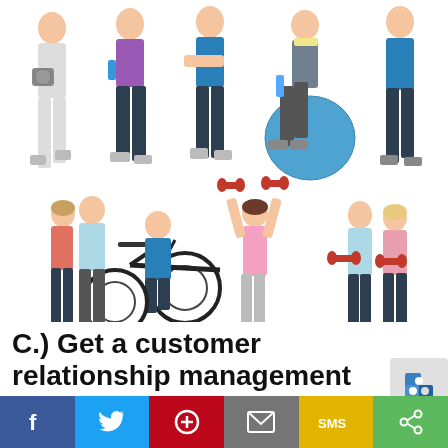[Figure (photo): Collage of fitness people on white background: top row shows 5 people including a woman with a scale, woman in purple top, man in blue shirt, older man sitting on exercise ball, and man in blue shirt; bottom row shows a man on a spin bike, two people lifting dumbbells, a woman lifting red dumbbells overhead in pink top, and a couple standing together.]
C.) Get a customer relationship management
[Figure (infographic): Social sharing icon (blue puzzle piece style) in gray box]